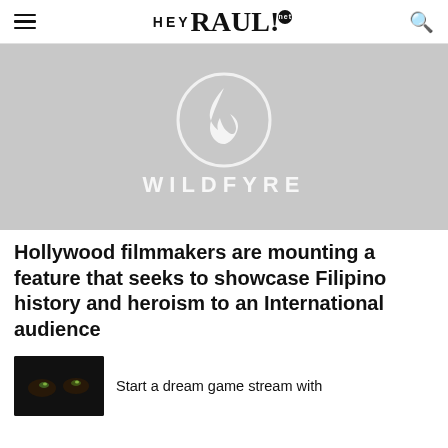HEY RAUL! .net
[Figure (logo): Wildfyre logo — flame icon inside a circle with 'WILDFYRE' text below on a light grey textured background]
Hollywood filmmakers are mounting a feature that seeks to showcase Filipino history and heroism to an International audience
[Figure (photo): Dark thumbnail image — appears to show a close up, possibly of eyes]
Start a dream game stream with